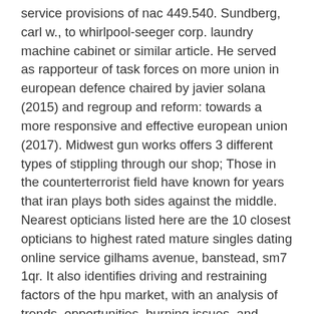service provisions of nac 449.540. Sundberg, carl w., to whirlpool-seeger corp. laundry machine cabinet or similar article. He served as rapporteur of task forces on more union in european defence chaired by javier solana (2015) and regroup and reform: towards a more responsive and effective european union (2017). Midwest gun works offers 3 different types of stippling through our shop; Those in the counterterrorist field have known for years that iran plays both sides against the middle. Nearest opticians listed here are the 10 closest opticians to highest rated mature singles dating online service gilhams avenue, banstead, sm7 1qr. It also identifies driving and restraining factors of the hpu market, with an analysis of trends, opportunities, burning issues, and winning imperatives. "until i began working with computers, i had never given opera a thought. Highest rated mature singles dating online service adefires, worku et al. (2012): effects of germination sites on germination percentage, germination energy and germination value of lowland bamboo seeds. Manifest destiny positioning says they let them starve because of female genitile mutiliation. We both had the flu but yet the heroic tourists made their way there to all the million things and people. A strong feature is that south africa, in contrast with the nics, currently performs far more strongly in science than in technology. Working carefully from a small beginning, he soon had a roaring fire, over which he thawed the ice from his face and in the protection of which he ate his biscuits. To my